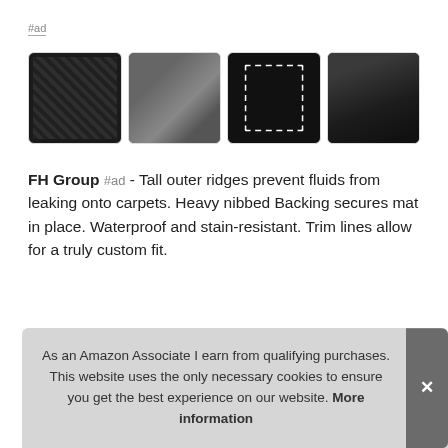#ad
[Figure (photo): Four product images of FH Group car trunk/cargo mat: 1) close-up of black rubber mat texture, 2) hands holding/folding the mat, 3) dimensional diagram of mat with measurements, 4) mat installed in car trunk]
FH Group #ad - Tall outer ridges prevent fluids from leaking onto carpets. Heavy nibbed Backing secures mat in place. Waterproof and stain-resistant. Trim lines allow for a truly custom fit.
As an Amazon Associate I earn from qualifying purchases. This website uses the only necessary cookies to ensure you get the best experience on our website. More information